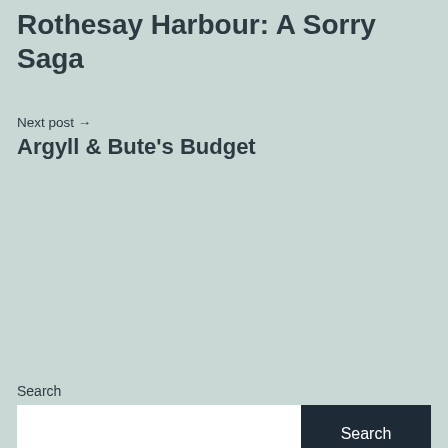Rothesay Harbour: A Sorry Saga
Next post → Argyll & Bute's Budget
Search
Recent Posts
Education: who knew what and when?